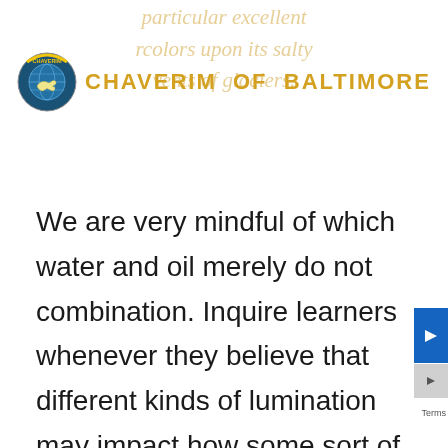[Figure (logo): Chaverim of Baltimore circular logo with handshake graphic and globe, accompanied by the text 'CHAVERIM OF BALTIMORE' in bold yellow/gold letters]
We are very mindful of which water and oil merely do not combination. Inquire learners whenever they believe that different kinds of lumination may impact how some sort of luminescent object will shine. Consider some of the negative or positive results of every sort of sunshine trend upon mankind? along with Sculpey glaze, although there are many items around